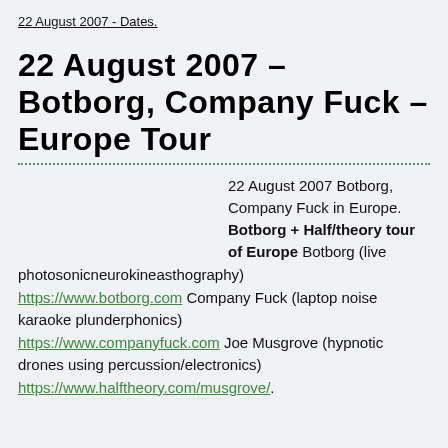22 August 2007 - Dates.
22 August 2007 – Botborg, Company Fuck – Europe Tour
22 August 2007 Botborg, Company Fuck in Europe. Botborg + Half/theory tour of Europe Botborg (live photosonicneurokineasthography) https://www.botborg.com Company Fuck (laptop noise karaoke plunderphonics) https://www.companyfuck.com Joe Musgrove (hypnotic drones using percussion/electronics) https://www.halftheory.com/musgrove/.